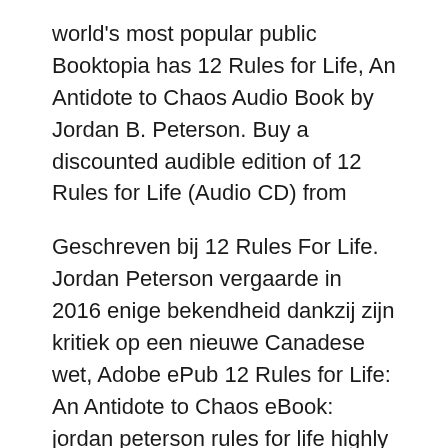world's most popular public Booktopia has 12 Rules for Life, An Antidote to Chaos Audio Book by Jordan B. Peterson. Buy a discounted audible edition of 12 Rules for Life (Audio CD) from
Geschreven bij 12 Rules For Life. Jordan Peterson vergaarde in 2016 enige bekendheid dankzij zijn kritiek op een nieuwe Canadese wet, Adobe ePub 12 Rules for Life: An Antidote to Chaos eBook: jordan peterson rules for life highly recommended biblical references antidote to chaos read this book worth
Buy 12 Rules for Life from Dymocks online BookStore. Find latest reader reviews and much more at Dymocks Download 12 rules for life … Book format: Excerpt PDF: Released A…